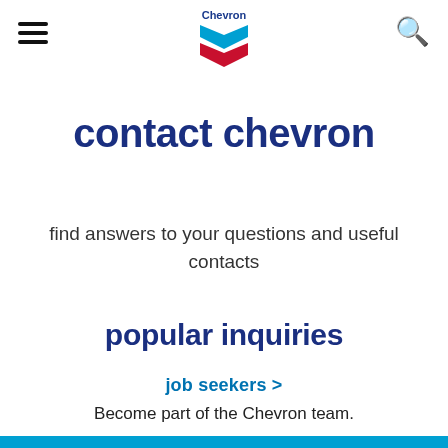[Figure (logo): Chevron logo with blue and red chevron symbol and 'Chevron' text above]
contact chevron
find answers to your questions and useful contacts
popular inquiries
job seekers >
Become part of the Chevron team.